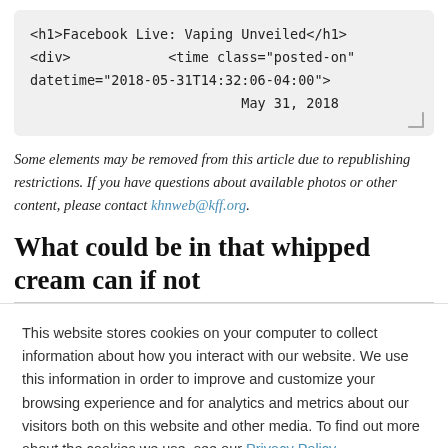<h1>Facebook Live: Vaping Unveiled</h1>
<div>              <time class="posted-on"
datetime="2018-05-31T14:32:06-04:00">
                          May 31, 2018
Some elements may be removed from this article due to republishing restrictions. If you have questions about available photos or other content, please contact khnweb@kff.org.
What could be in that whipped cream can if not
This website stores cookies on your computer to collect information about how you interact with our website. We use this information in order to improve and customize your browsing experience and for analytics and metrics about our visitors both on this website and other media. To find out more about the cookies we use, see our Privacy Policy.